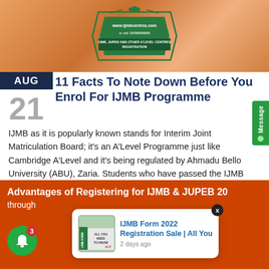[Figure (photo): Top banner image with IJMB/JUPEB registration center badge on orange background]
11 Facts To Note Down Before You Enrol For IJMB Programme
IJMB as it is popularly known stands for Interim Joint Matriculation Board; it's an A'Level Programme just like Cambridge A'Level and it's being regulated by Ahmadu Bello University (ABU), Zaria. Students who have passed the IJMB examination with the required points can use the
[Figure (screenshot): Orange banner: Advantages of Registering for IJMB & JUPEB 2022 through... with Show More button and notification popup card for IJMB Form 2022 Registration Sale | All You, 2 days ago]